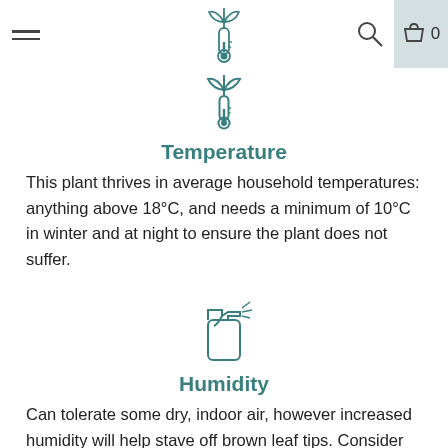Navigation header with menu, plant logo, search, and cart (0)
[Figure (illustration): Teal outline icon of a plant above a thermometer]
Temperature
This plant thrives in average household temperatures: anything above 18°C, and needs a minimum of 10°C in winter and at night to ensure the plant does not suffer.
[Figure (illustration): Teal outline icon of a spray bottle]
Humidity
Can tolerate some dry, indoor air, however increased humidity will help stave off brown leaf tips. Consider giving your palm the occasional misting with lukewarm water. This will also help keep the leaves dust-free.
[Figure (illustration): Teal outline icon of a fertilizer/bottle container (partially visible at bottom)]